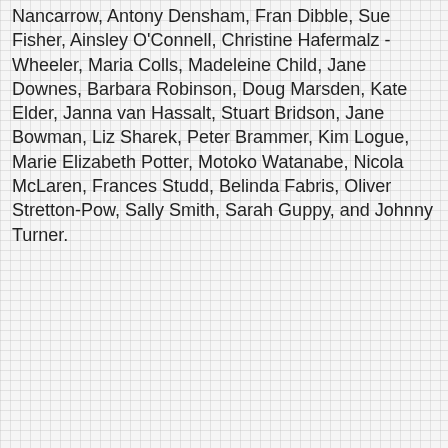Nancarrow, Antony Densham, Fran Dibble, Sue Fisher, Ainsley O'Connell, Christine Hafermalz - Wheeler, Maria Colls, Madeleine Child, Jane Downes, Barbara Robinson, Doug Marsden, Kate Elder, Janna van Hassalt, Stuart Bridson, Jane Bowman, Liz Sharek, Peter Brammer, Kim Logue, Marie Elizabeth Potter, Motoko Watanabe, Nicola McLaren, Frances Studd, Belinda Fabris, Oliver Stretton-Pow, Sally Smith, Sarah Guppy, and Johnny Turner.